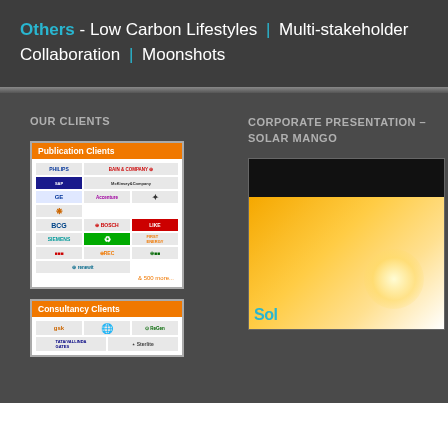Others - Low Carbon Lifestyles | Multi-stakeholder Collaboration | Moonshots
OUR CLIENTS
[Figure (other): Publication Clients card showing logos of Philips, Bain & Company, McKinsey & Company, GE, Accenture, and other companies, with text '& 500 more...']
CORPORATE PRESENTATION – SOLAR MANGO
[Figure (other): Solar Mango corporate presentation preview image with orange/yellow gradient background and partial 'Sol' text visible in cyan color]
[Figure (other): Consultancy Clients card showing logos of GSK, a globe icon, ReGen, Tata/Vallinda Gates, and Sterlite]